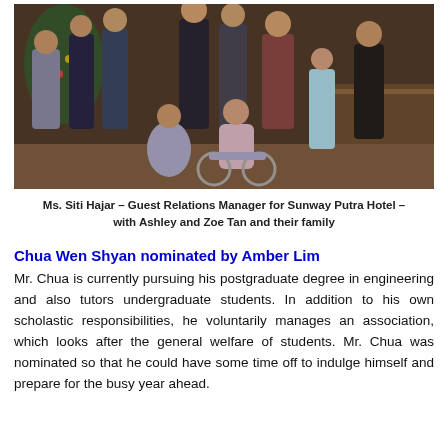[Figure (photo): Group photo of people including a woman in a wheelchair, taken at what appears to be a hotel or festive event with a Christmas tree in the background. Ms. Siti Hajar, Guest Relations Manager for Sunway Putra Hotel, is with Ashley and Zoe Tan and their family.]
Ms. Siti Hajar – Guest Relations Manager for Sunway Putra Hotel – with Ashley and Zoe Tan and their family
Chua Wen Shyan nominated by Amber Lim
Mr. Chua is currently pursuing his postgraduate degree in engineering and also tutors undergraduate students. In addition to his own scholastic responsibilities, he voluntarily manages an association, which looks after the general welfare of students. Mr. Chua was nominated so that he could have some time off to indulge himself and prepare for the busy year ahead.